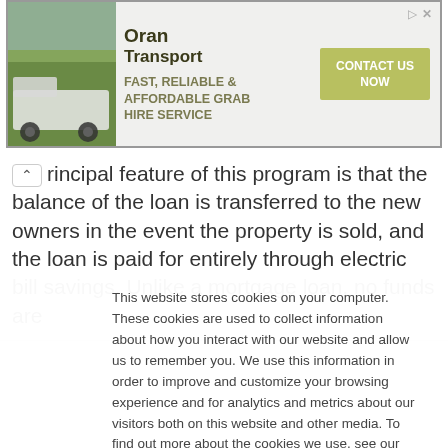[Figure (infographic): Oran Transport advertisement banner. Shows a construction truck photo on left, 'Oran Transport' logo in center, tagline 'FAST, RELIABLE & AFFORDABLE GRAB HIRE SERVICE', and a green 'CONTACT US NOW' button on right.]
principal feature of this program is that the balance of the loan is transferred to the new owners in the event the property is sold, and the loan is paid for entirely through electric bill savings. Unlike a mortgage loan, no funds are
This website stores cookies on your computer. These cookies are used to collect information about how you interact with our website and allow us to remember you. We use this information in order to improve and customize your browsing experience and for analytics and metrics about our visitors both on this website and other media. To find out more about the cookies we use, see our Privacy Policy

If you decline, your information won't be tracked when you visit this website. A single cookie will be used in your browser to remember your preference not to be tracked.